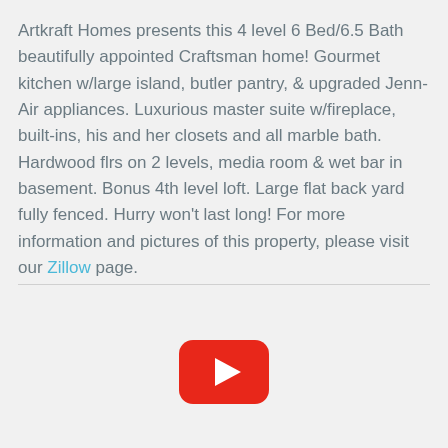Artkraft Homes presents this 4 level 6 Bed/6.5 Bath beautifully appointed Craftsman home! Gourmet kitchen w/large island, butler pantry, & upgraded Jenn-Air appliances. Luxurious master suite w/fireplace, built-ins, his and her closets and all marble bath. Hardwood flrs on 2 levels, media room & wet bar in basement. Bonus 4th level loft. Large flat back yard fully fenced. Hurry won't last long! For more information and pictures of this property, please visit our Zillow page.
[Figure (other): YouTube play button logo/icon (red rounded rectangle with white play triangle)]